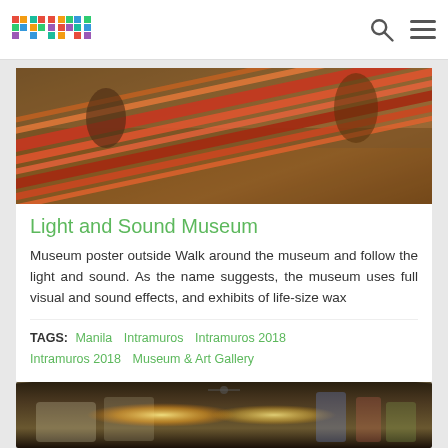primer
[Figure (photo): People weaving colorful textiles with vibrant red and orange threads on a loom, photographed in warm earthy tones]
Light and Sound Museum
Museum poster outside Walk around the museum and follow the light and sound. As the name suggests, the museum uses full visual and sound effects, and exhibits of life-size wax
TAGS: Manila  Intramuros  Intramuros 2018  Intramuros 2018  Museum & Art Gallery
[Figure (photo): Interior of a museum shop or gallery with arched stone ceiling, display shelves with merchandise, warm ambient lighting]